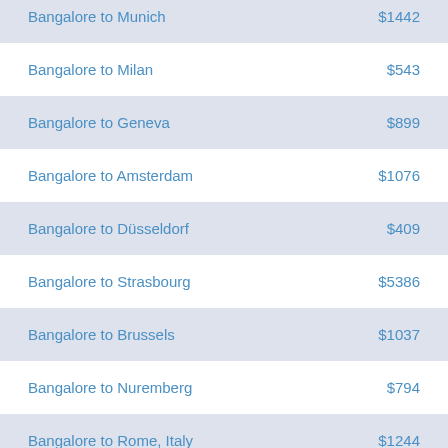| Route | Price |
| --- | --- |
| Bangalore to Munich | $1442 |
| Bangalore to Milan | $543 |
| Bangalore to Geneva | $899 |
| Bangalore to Amsterdam | $1076 |
| Bangalore to Düsseldorf | $409 |
| Bangalore to Strasbourg | $5386 |
| Bangalore to Brussels | $1037 |
| Bangalore to Nuremberg | $794 |
| Bangalore to Rome, Italy | $1244 |